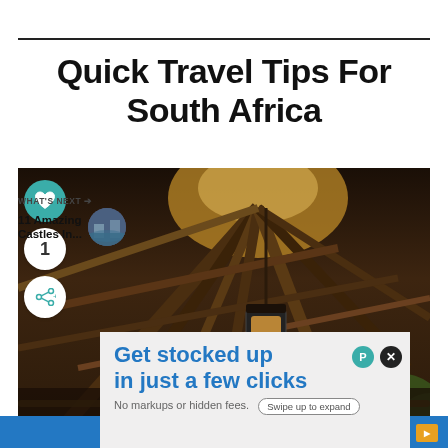Quick Travel Tips For South Africa
[Figure (photo): Interior view of a rustic wooden structure with a thatched/timber roof, exposed log beams, and a hanging lantern. African safari lodge style architecture with natural wood and vegetation visible in background.]
WHAT'S NEXT → 11 Amazing Castles In...
[Figure (infographic): Advertisement overlay: 'Get stocked up in just a few clicks' with subtext 'No markups or hidden fees.' and a 'Swipe up to expand' button.]